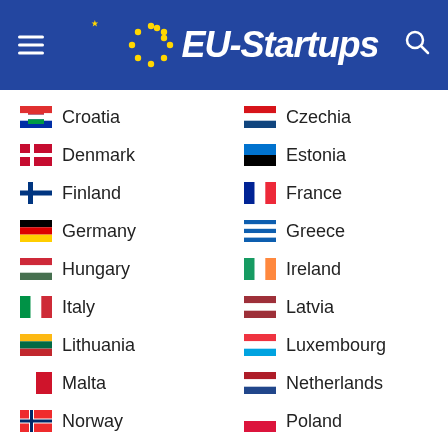[Figure (logo): EU-Startups website header with blue background, EU stars logo, hamburger menu icon on left, search icon on right]
Croatia
Czechia
Denmark
Estonia
Finland
France
Germany
Greece
Hungary
Ireland
Italy
Latvia
Lithuania
Luxembourg
Malta
Netherlands
Norway
Poland